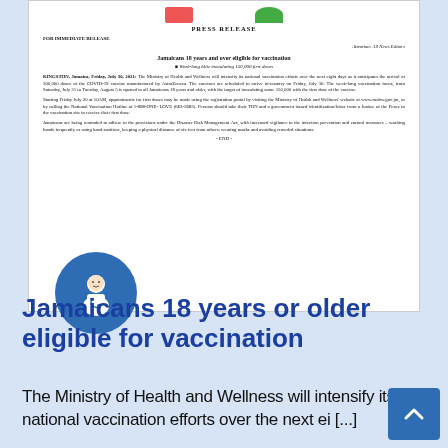[Figure (screenshot): Screenshot of a government press release from the Ministry of Health and Wellness of Jamaica, titled 'Jamaicans 18 years and over eligible for vaccination', with bullet point 'Week-long blitz inoculating 150,000 first doses'. The body text is dated KINGSTON, Jamaica, Friday, July 30, 2021. Contains three body paragraphs and ends with -END-.]
Jamaicans 18 years or older eligible for vaccination
The Ministry of Health and Wellness will intensify its national vaccination efforts over the next ei [...]